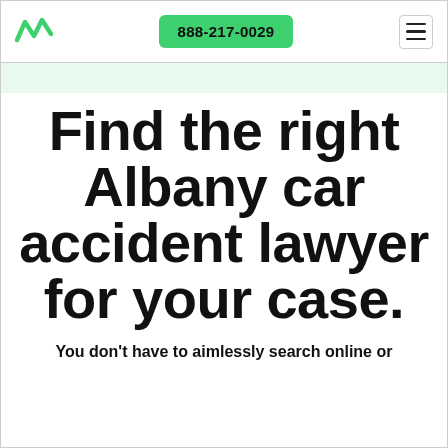888-217-0029
Find the right Albany car accident lawyer for your case.
You don't have to aimlessly search online or